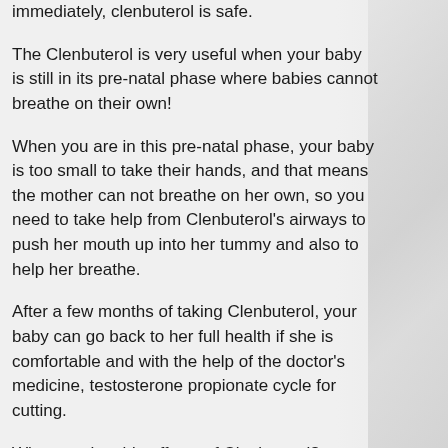immediately, clenbuterol is safe.
The Clenbuterol is very useful when your baby is still in its pre-natal phase where babies cannot breathe on their own!
When you are in this pre-natal phase, your baby is too small to take their hands, and that means the mother can not breathe on her own, so you need to take help from Clenbuterol's airways to push her mouth up into her tummy and also to help her breathe.
After a few months of taking Clenbuterol, your baby can go back to her full health if she is comfortable and with the help of the doctor's medicine, testosterone propionate cycle for cutting.
What are the side effects of Clenbuterol?
Clenbuterol is a very effective medicine and